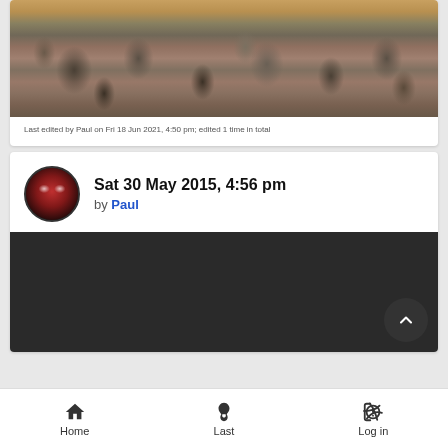[Figure (photo): Crowd of people at an event, vintage photo style with warm tones]
Last edited by Paul on Fri 18 Jun 2021, 4:50 pm; edited 1 time in total
Sat 30 May 2015, 4:56 pm
by Paul
[Figure (photo): Dark/black video embed area]
Home  Last  Log in